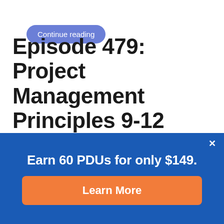[Figure (screenshot): Continue reading button — rounded pill-shaped blue button with white text]
Episode 479: Project Management Principles 9-12 (Free)
Play audio-only episode | Play video episode
Click above to play either the audio-only episode or video episode in a new window.
Earn 60 PDUs for only $149.
Learn More